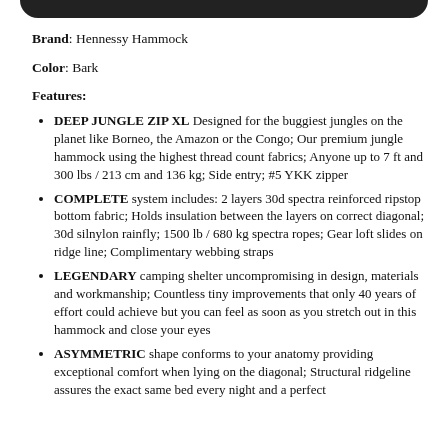[Figure (other): Dark rounded top bar, partial product image cropped at top]
Brand: Hennessy Hammock
Color: Bark
Features:
DEEP JUNGLE ZIP XL Designed for the buggiest jungles on the planet like Borneo, the Amazon or the Congo; Our premium jungle hammock using the highest thread count fabrics; Anyone up to 7 ft and 300 lbs / 213 cm and 136 kg; Side entry; #5 YKK zipper
COMPLETE system includes: 2 layers 30d spectra reinforced ripstop bottom fabric; Holds insulation between the layers on correct diagonal; 30d silnylon rainfly; 1500 lb / 680 kg spectra ropes; Gear loft slides on ridge line; Complimentary webbing straps
LEGENDARY camping shelter uncompromising in design, materials and workmanship; Countless tiny improvements that only 40 years of effort could achieve but you can feel as soon as you stretch out in this hammock and close your eyes
ASYMMETRIC shape conforms to your anatomy providing exceptional comfort when lying on the diagonal; Structural ridgeline assures the exact same bed every night and a perfect